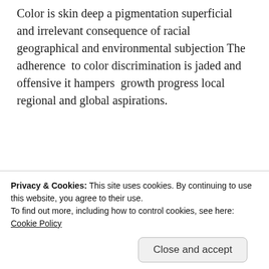Color is skin deep a pigmentation superficial and irrelevant consequence of racial geographical and environmental subjection The adherence  to color discrimination is jaded and offensive it hampers  growth progress local regional and global aspirations.
Advertisements
[Figure (logo): AUTOMATTIC logo with tagline: Build a better web and a better world.]
-By: Veena Umesh Sood-
Image Courtesy: Pinterest
Privacy & Cookies: This site uses cookies. By continuing to use this website, you agree to their use.
To find out more, including how to control cookies, see here:
Cookie Policy
[Figure (photo): Bottom strip of image showing text: "God created our skin]